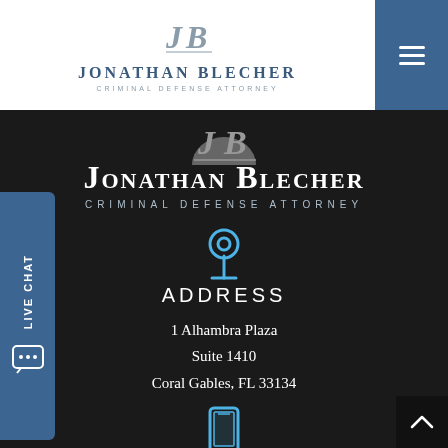[Figure (logo): Jonathan Blecher Criminal Defense Attorney logo with JB monogram in grey, name in blue small caps, tagline in grey lettersspaced uppercase]
[Figure (screenshot): Dark website background section showing Jonathan Blecher Criminal Defense Attorney contact page with address and phone sections, live chat sidebar, and hamburger menu]
Jonathan Blecher
CRIMINAL DEFENSE ATTORNEY
ADDRESS
1 Alhambra Plaza
Suite 1410
Coral Gables, FL 33134
PHONE